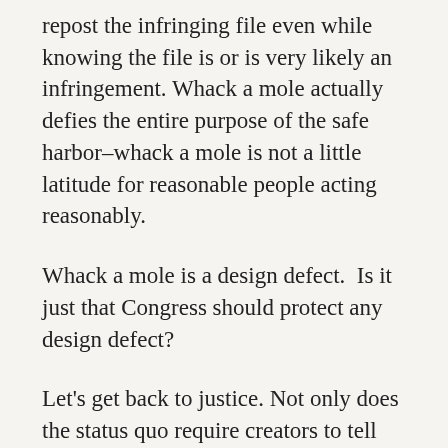repost the infringing file even while knowing the file is or is very likely an infringement. Whack a mole actually defies the entire purpose of the safe harbor–whack a mole is not a little latitude for reasonable people acting reasonably.
Whack a mole is a design defect.  Is it just that Congress should protect any design defect?
Let's get back to justice. Not only does the status quo require creators to tell lawmakers (including courts) what their law means, the U.S. Government has utterly failed artists with the fundamental justification for the Sovereign common to our jurisprudence and political theory.